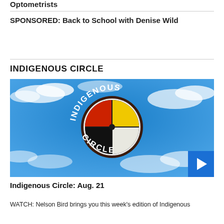Optometrists
SPONSORED: Back to School with Denise Wild
INDIGENOUS CIRCLE
[Figure (photo): Indigenous Circle logo — a medicine wheel (four quadrants: red, yellow, black, white) inside a dark circular border, with 'INDIGENOUS CIRCLE' text arched around it against a blue sky with clouds background. A blue play button is in the bottom right corner.]
Indigenous Circle: Aug. 21
WATCH: Nelson Bird brings you this week's edition of Indigenous